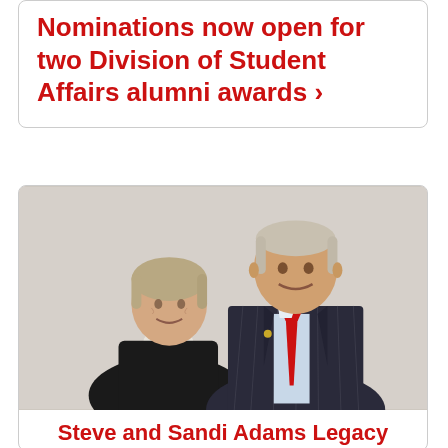Nominations now open for two Division of Student Affairs alumni awards >
[Figure (photo): Portrait photo of a couple — a woman with short blonde hair wearing a black leather jacket over a white turtleneck, and a taller man in a dark pinstripe suit with a red tie, both smiling]
Steve and Sandi Adams Legacy